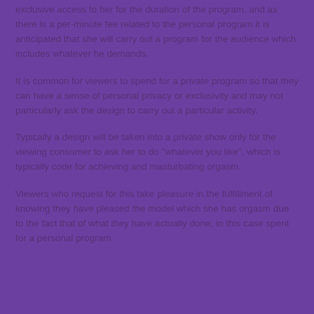exclusive access to her for the duration of the program, and as there is a per-minute fee related to the personal program it is anticipated that she will carry out a program for the audience which includes whatever he demands.
It is common for viewers to spend for a private program so that they can have a sense of personal privacy or exclusivity and may not particularly ask the design to carry out a particular activity.
Typically a design will be taken into a private show only for the viewing consumer to ask her to do "whatever you like", which is typically code for achieving and masturbating orgasm.
Viewers who request for this take pleasure in the fulfillment of knowing they have pleased the model which she has orgasm due to the fact that of what they have actually done, in this case spent for a personal program.